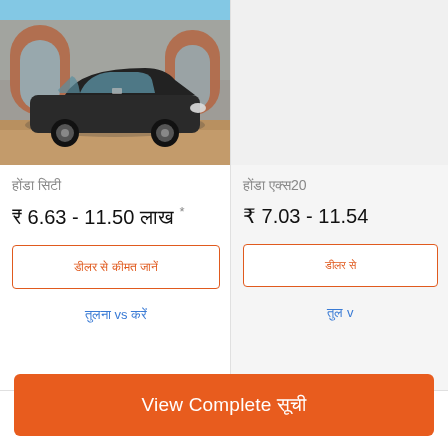[Figure (photo): Honda City sedan car in dark grey/black color parked in front of a Mughal-style red sandstone monument, blue sky background. Product listing photo.]
होंडा सिटी
₹ 6.63 - 11.50 लाख *
डीलर से कीमत जानें
तुलना vs करें
[Figure (photo): Second car listing image (partially visible, grey background placeholder)]
होंडा एक्स20
₹ 7.03 - 11.54
डीलर से
तुल v
View Complete सूची